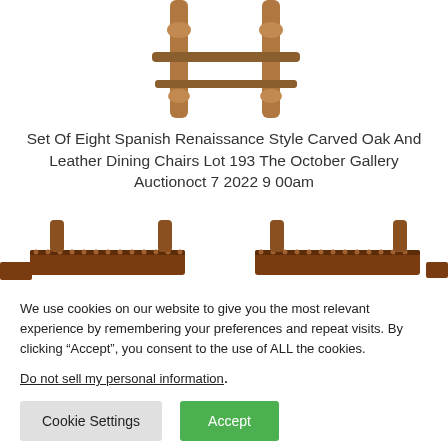[Figure (photo): Top portion of a Spanish Renaissance style carved oak and leather dining chair, showing the upper back and legs against a white background.]
Set Of Eight Spanish Renaissance Style Carved Oak And Leather Dining Chairs Lot 193 The October Gallery Auctionoct 7 2022 9 00am
[Figure (photo): Bottom portion of two Spanish Renaissance style carved oak and leather dining chairs, showing the leather seats with nailhead trim, partially cropped at the edges of the frame.]
We use cookies on our website to give you the most relevant experience by remembering your preferences and repeat visits. By clicking “Accept”, you consent to the use of ALL the cookies.
Do not sell my personal information.